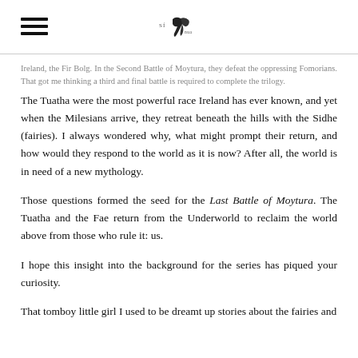[hamburger menu icon] [site logo]
Ireland, the Fir Bolg. In the Second Battle of Moytura, they defeat the oppressing Fomorians. That got me thinking a third and final battle is required to complete the trilogy.
The Tuatha were the most powerful race Ireland has ever known, and yet when the Milesians arrive, they retreat beneath the hills with the Sidhe (fairies). I always wondered why, what might prompt their return, and how would they respond to the world as it is now? After all, the world is in need of a new mythology.
Those questions formed the seed for the Last Battle of Moytura. The Tuatha and the Fae return from the Underworld to reclaim the world above from those who rule it: us.
I hope this insight into the background for the series has piqued your curiosity.
That tomboy little girl I used to be dreamt up stories about the fairies and